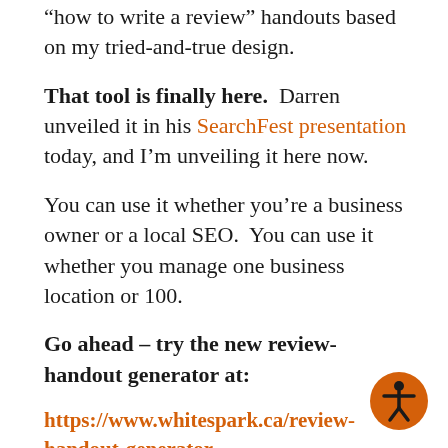“how to write a review” handouts based on my tried-and-true design.
That tool is finally here. Darren unveiled it in his SearchFest presentation today, and I’m unveiling it here now.
You can use it whether you’re a business owner or a local SEO. You can use it whether you manage one business location or 100.
Go ahead – try the new review-handout generator at:
https://www.whitespark.ca/review-handout-generator